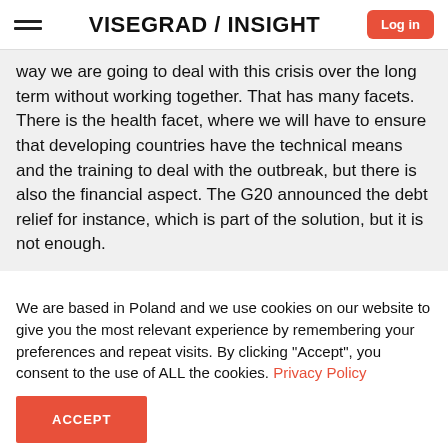VISEGRAD / INSIGHT
way we are going to deal with this crisis over the long term without working together. That has many facets. There is the health facet, where we will have to ensure that developing countries have the technical means and the training to deal with the outbreak, but there is also the financial aspect. The G20 announced the debt relief for instance, which is part of the solution, but it is not enough.
We are based in Poland and we use cookies on our website to give you the most relevant experience by remembering your preferences and repeat visits. By clicking "Accept", you consent to the use of ALL the cookies. Privacy Policy
ACCEPT